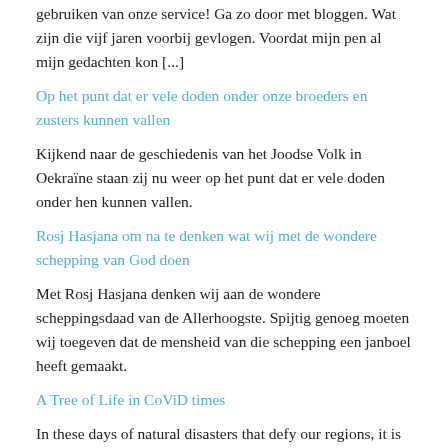gebruiken van onze service! Ga zo door met bloggen. Wat zijn die vijf jaren voorbij gevlogen. Voordat mijn pen al mijn gedachten kon [...]
Op het punt dat er vele doden onder onze broeders en zusters kunnen vallen
Kijkend naar de geschiedenis van het Joodse Volk in Oekraïne staan zij nu weer op het punt dat er vele doden onder hen kunnen vallen.
Rosj Hasjana om na te denken wat wij met de wondere schepping van God doen
Met Rosj Hasjana denken wij aan de wondere scheppingsdaad van de Allerhoogste. Spijtig genoeg moeten wij toegeven dat de mensheid van die schepping een janboel heeft gemaakt.
A Tree of Life in CoViD times
In these days of natural disasters that defy our regions, it is